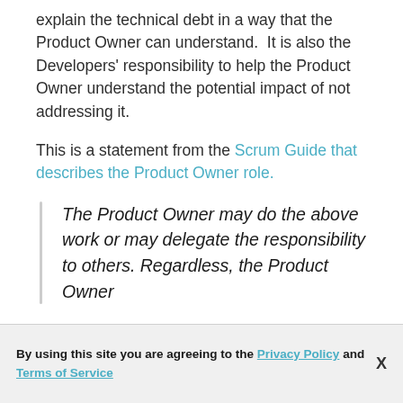explain the technical debt in a way that the Product Owner can understand.  It is also the Developers' responsibility to help the Product Owner understand the potential impact of not addressing it.
This is a statement from the Scrum Guide that describes the Product Owner role.
The Product Owner may do the above work or may delegate the responsibility to others. Regardless, the Product Owner
By using this site you are agreeing to the Privacy Policy and Terms of Service